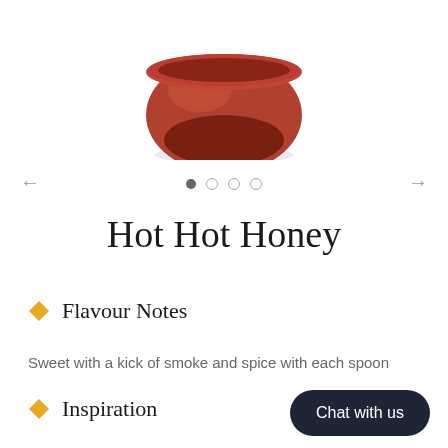[Figure (photo): Partial view of a red-brown ceramic bowl or container cropped at the top of the page]
← (navigation left arrow) ● ○ ○ ○ → (navigation right arrow) — carousel navigation dots
Hot Hot Honey
Flavour Notes
Sweet with a kick of smoke and spice with each spoon
Inspiration
Chat with us